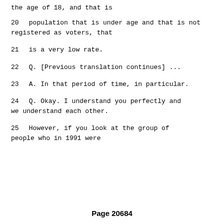the age of 18, and that is
20     population that is under age and that is not registered as voters, that
21     is a very low rate.
22        Q.   [Previous translation continues] ...
23        A.   In that period of time, in particular.
24        Q.   Okay.  I understand you perfectly and we understand each other.
25             However, if you look at the group of people who in 1991 were
Page 20684